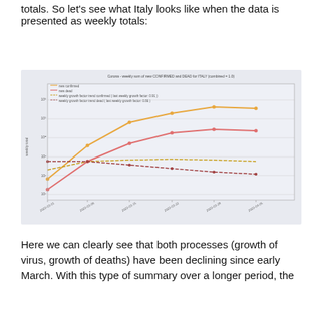totals. So let's see what Italy looks like when the data is presented as weekly totals:
[Figure (line-chart): Line chart showing weekly sums of new confirmed cases and deaths for Italy, with weekly growth factor trend lines. Four series: new confirmed (orange), new dead (red/pink), weekly growth factor trend confirmed (last weekly growth factor: 0.91), weekly growth factor trend dead (last weekly growth factor: 0.86). X-axis: weeks from 2020-03-01 to 2020-04-05. Confirmed cases curve rises and plateaus at top, deaths curve rises and plateaus lower, both growth factor lines decline from ~1.0 to below 1.0.]
Here we can clearly see that both processes (growth of virus, growth of deaths) have been declining since early March. With this type of summary over a longer period, the